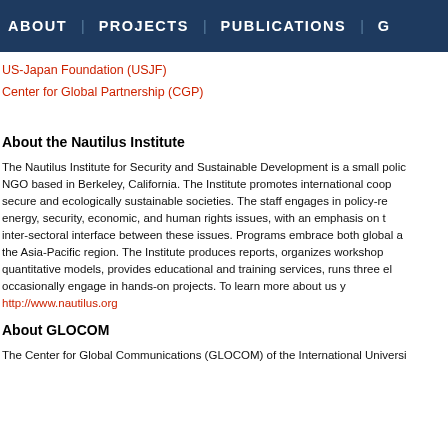ABOUT | PROJECTS | PUBLICATIONS | G
US-Japan Foundation (USJF)
Center for Global Partnership (CGP)
About the Nautilus Institute
The Nautilus Institute for Security and Sustainable Development is a small policy NGO based in Berkeley, California. The Institute promotes international cooperation to secure and ecologically sustainable societies. The staff engages in policy-relevant energy, security, economic, and human rights issues, with an emphasis on the inter-sectoral interface between these issues. Programs embrace both global and the Asia-Pacific region. The Institute produces reports, organizes workshops, quantitative models, provides educational and training services, runs three electronic and occasionally engage in hands-on projects. To learn more about us you can visit http://www.nautilus.org
About GLOCOM
The Center for Global Communications (GLOCOM) of the International University